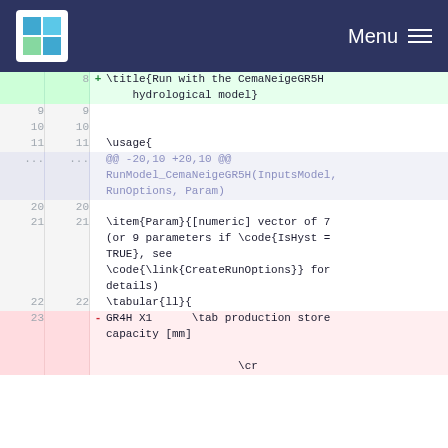Menu
[Figure (screenshot): Code diff view showing changes to an R documentation file for RunModel_CemaNeigeGR5H function. Added line 8: \title{Run with the CemaNeigeGR5H hydrological model}. Lines 9-22 show unchanged usage, item, and tabular content. Line 23 removed: GR4H X1 \tab production store capacity [mm] \cr]